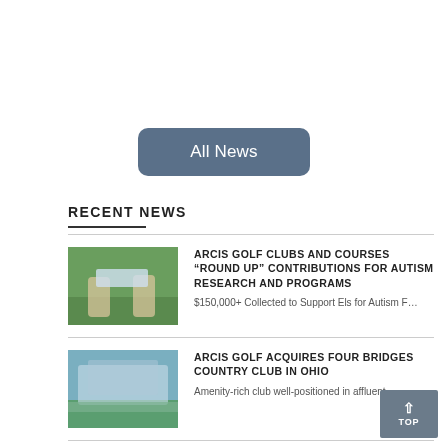[Figure (other): Button: All News with rounded rectangle style in slate blue]
RECENT NEWS
[Figure (photo): Two people holding a large check outdoors at a golf course]
ARCIS GOLF CLUBS AND COURSES “ROUND UP” CONTRIBUTIONS FOR AUTISM RESEARCH AND PROGRAMS
$150,000+ Collected to Support Els for Autism F…
[Figure (photo): Exterior photo of a country club building reflected in a pond]
ARCIS GOLF ACQUIRES FOUR BRIDGES COUNTRY CLUB IN OHIO
Amenity-rich club well-positioned in affluent, …
[Figure (photo): Partial thumbnail of Bear Creek Golf Club]
BEAR CREEK GOLF CLUB EARNS FIRST-PLACE